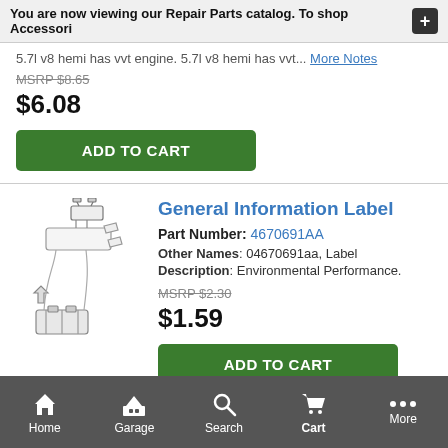You are now viewing our Repair Parts catalog. To shop Accessori +
5.7l v8 hemi has vvt engine. 5.7l v8 hemi has vvt... More Notes
MSRP $8.65
$6.08
ADD TO CART
General Information Label
Part Number: 4670691AA
Other Names: 04670691aa, Label
Description: Environmental Performance.
MSRP $2.30
$1.59
ADD TO CART
Home  Garage  Search  Cart  More